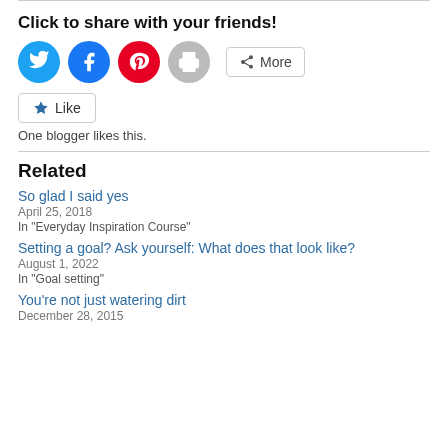Click to share with your friends!
[Figure (infographic): Social share buttons: Twitter (blue circle), Facebook (blue circle), Pinterest (red circle), Print (grey circle), More button]
[Figure (infographic): Like button with star icon]
One blogger likes this.
Related
So glad I said yes
April 25, 2018
In "Everyday Inspiration Course"
Setting a goal? Ask yourself: What does that look like?
August 1, 2022
In "Goal setting"
You're not just watering dirt
December 28, 2015